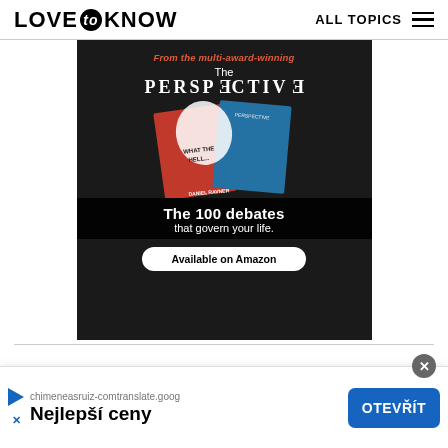LOVE to KNOW   ALL TOPICS
[Figure (illustration): Advertisement for 'The Perspective' publication featuring a book titled 'What The Hell...' with text: 'From the multi-award-winning', 'The PERSPECTIVE', 'The 100 debates that govern your life.', 'Available on Amazon'. Book cover shows red and blue design by Daniel Ravner.]
[Figure (infographic): Bottom advertisement bar showing play icon, URL 'chimeneasruiz-comtranslate.goog', text 'Nejlepší ceny', blue button 'OTEVŘÍT', and close button (x)]